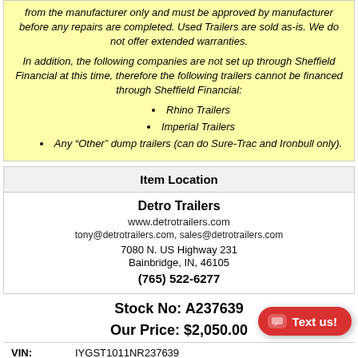from the manufacturer only and must be approved by manufacturer before any repairs are completed. Used Trailers are sold as-is. We do not offer extended warranties.
In addition, the following companies are not set up through Sheffield Financial at this time, therefore the following trailers cannot be financed through Sheffield Financial:
Rhino Trailers
Imperial Trailers
Any “Other” dump trailers (can do Sure-Trac and Ironbull only).
Item Location
Detro Trailers
www.detrotrailers.com
tony@detrotrailers.com, sales@detrotrailers.com
7080 N. US Highway 231
Bainbridge, IN, 46105
(765) 522-6277
Stock No: A237639
Our Price: $2,050.00
| VIN: | IYGST1011NR237639 |
| --- | --- |